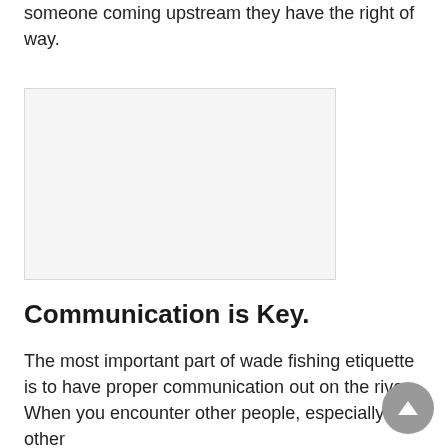someone coming upstream they have the right of way.
[Figure (photo): A light gray placeholder image representing a photo related to wade fishing on a river.]
Communication is Key.
The most important part of wade fishing etiquette is to have proper communication out on the rive. When you encounter other people, especially other